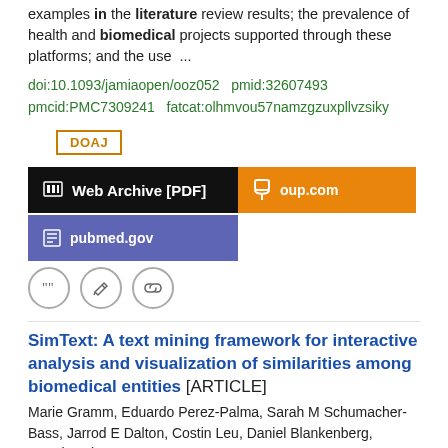examples in the literature review results; the prevalence of health and biomedical projects supported through these platforms; and the use  ...
doi:10.1093/jamiaopen/ooz052  pmid:32607493 pmcid:PMC7309241  fatcat:olhmvou57namzgzuxpllvzsiky
[Figure (other): DOAJ badge button (orange border)]
[Figure (other): Web Archive [PDF] black button, oup.com orange button, pubmed.gov purple button]
[Figure (other): Three circular icon buttons: quote, edit, link]
SimText: A text mining framework for interactive analysis and visualization of similarities among biomedical entities [ARTICLE]
Marie Gramm, Eduardo Perez-Palma, Sarah M Schumacher-Bass, Jarrod E Dalton, Costin Leu, Daniel Blankenberg, Dennis Lal
2020 bioRxiv  PRE-PRINT
Literature exploration in PubMed on a large number of biomedical entities (e.g., genes, diseases, experiments) can be time consuming